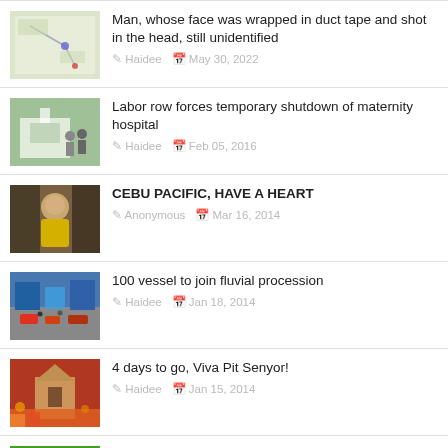Man, whose face was wrapped in duct tape and shot in the head, still unidentified — Haidee, May 30, 2022
Labor row forces temporary shutdown of maternity hospital — Haidee, Feb 05, 2016
CEBU PACIFIC, HAVE A HEART — Anonymous, Mar 16, 2014
100 vessel to join fluvial procession — Haidee, Jan 18, 2014
4 days to go, Viva Pit Senyor! — Haidee, Jan 15, 2014
CEBU CITY ELECTION - Complete list of October 2013